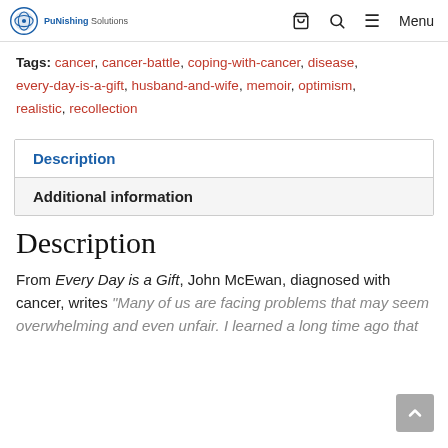PuNishing Solutions — navigation header with cart, search, and menu icons
Tags: cancer, cancer-battle, coping-with-cancer, disease, every-day-is-a-gift, husband-and-wife, memoir, optimism, realistic, recollection
| Description |
| Additional information |
Description
From Every Day is a Gift, John McEwan, diagnosed with cancer, writes "Many of us are facing problems that may seem overwhelming and even unfair. I learned a long time ago that